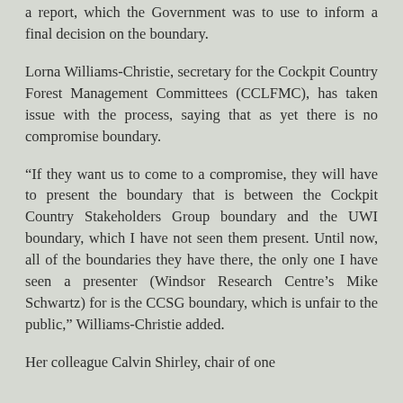a report, which the Government was to use to inform a final decision on the boundary.
Lorna Williams-Christie, secretary for the Cockpit Country Forest Management Committees (CCLFMC), has taken issue with the process, saying that as yet there is no compromise boundary.
“If they want us to come to a compromise, they will have to present the boundary that is between the Cockpit Country Stakeholders Group boundary and the UWI boundary, which I have not seen them present. Until now, all of the boundaries they have there, the only one I have seen a presenter (Windsor Research Centre’s Mike Schwartz) for is the CCSG boundary, which is unfair to the public,” Williams-Christie added.
Her colleague Calvin Shirley, chair of one...